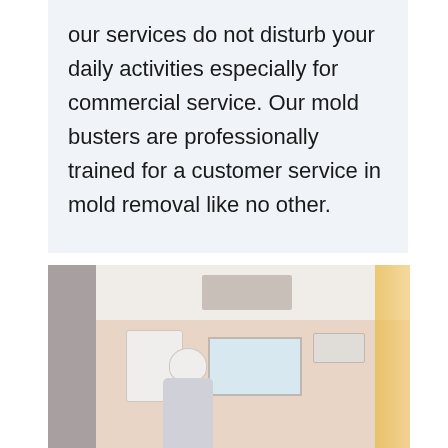our services do not disturb your daily activities especially for commercial service. Our mold busters are professionally trained for a customer service in mold removal like no other.
[Figure (photo): A worker in protective white gear/helmet working in a room with a boiler or water heater on the wall, ceiling vent visible, pink/beige walls, window in background, and an AC unit on the right wall.]